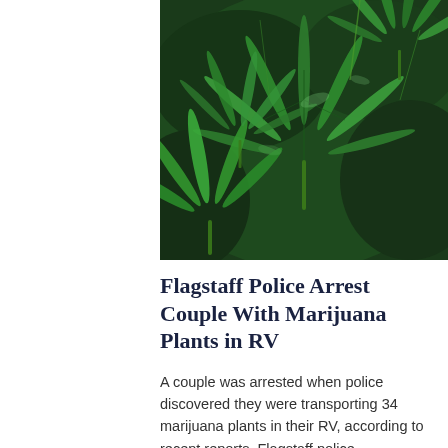[Figure (photo): Close-up photograph of marijuana (cannabis) plant with large green serrated leaves against a dark green leafy background]
Flagstaff Police Arrest Couple With Marijuana Plants in RV
A couple was arrested when police discovered they were transporting 34 marijuana plants in their RV, according to recent reports. Flagstaff police